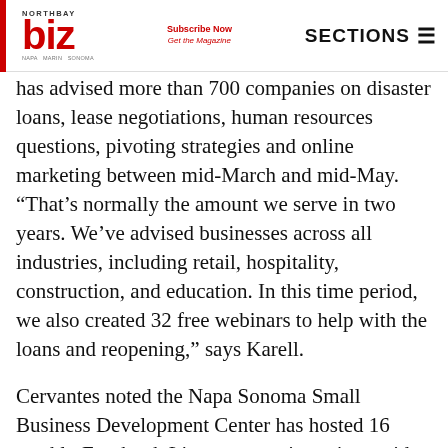NORTHBAY biz | Subscribe Now Get the Magazine | SECTIONS
has advised more than 700 companies on disaster loans, lease negotiations, human resources questions, pivoting strategies and online marketing between mid-March and mid-May. “That’s normally the amount we serve in two years. We’ve advised businesses across all industries, including retail, hospitality, construction, and education. In this time period, we also created 32 free webinars to help with the loans and reopening,” says Karell.
Cervantes noted the Napa Sonoma Small Business Development Center has hosted 16 weekly Facebook Live presentations since mid-March in English and Spanish, featuring guests to talk about resources for businesses.